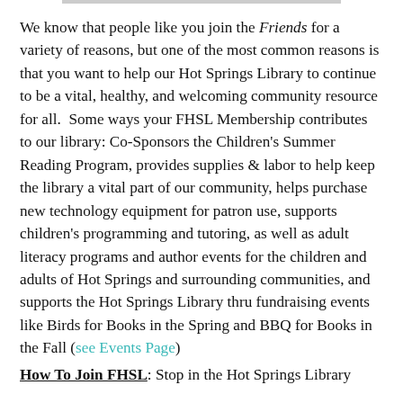We know that people like you join the Friends for a variety of reasons, but one of the most common reasons is that you want to help our Hot Springs Library to continue to be a vital, healthy, and welcoming community resource for all.  Some ways your FHSL Membership contributes to our library: Co-Sponsors the Children's Summer Reading Program, provides supplies & labor to help keep the library a vital part of our community, helps purchase new technology equipment for patron use, supports children's programming and tutoring, as well as adult literacy programs and author events for the children and adults of Hot Springs and surrounding communities, and supports the Hot Springs Library thru fundraising events like Birds for Books in the Spring and BBQ for Books in the Fall (see Events Page)
How To Join FHSL: Stop in the Hot Springs Library